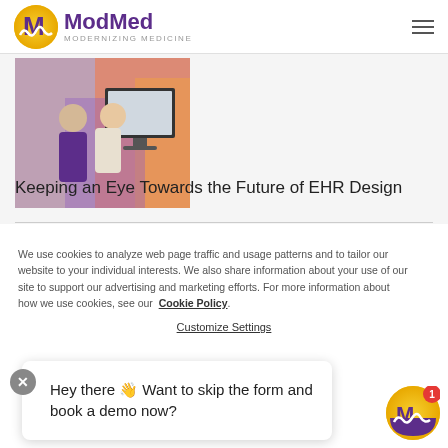ModMed — MODERNIZING MEDICINE
[Figure (photo): Two people looking at a computer monitor together in an office with colorful artwork in the background]
Keeping an Eye Towards the Future of EHR Design
We use cookies to analyze web page traffic and usage patterns and to tailor our website to your individual interests. We also share information about your use of our site to support our advertising and marketing efforts. For more information about how we use cookies, see our Cookie Policy.
Customize Settings
Hey there 👋 Want to skip the form and book a demo now?